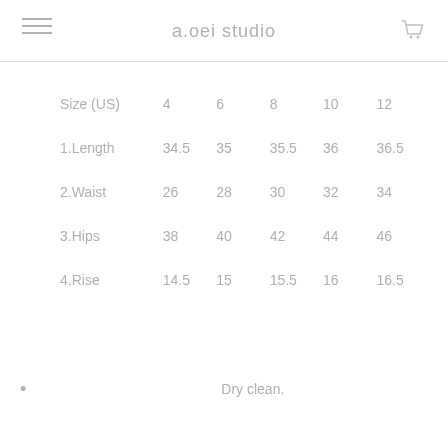a.oei studio
| Size (US) | 4 | 6 | 8 | 10 | 12 |
| --- | --- | --- | --- | --- | --- |
| 1.Length | 34.5 | 35 | 35.5 | 36 | 36.5 |
| 2.Waist | 26 | 28 | 30 | 32 | 34 |
| 3.Hips | 38 | 40 | 42 | 44 | 46 |
| 4.Rise | 14.5 | 15 | 15.5 | 16 | 16.5 |
Dry clean.